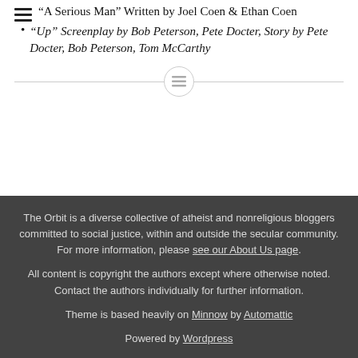“A Serious Man” Written by Joel Coen & Ethan Coen
“Up” Screenplay by Bob Peterson, Pete Docter, Story by Pete Docter, Bob Peterson, Tom McCarthy
The Orbit is a diverse collective of atheist and nonreligious bloggers committed to social justice, within and outside the secular community. For more information, please see our About Us page.

All content is copyright the authors except where otherwise noted. Contact the authors individually for further information.

Theme is based heavily on Minnow by Automattic

Powered by Wordpress